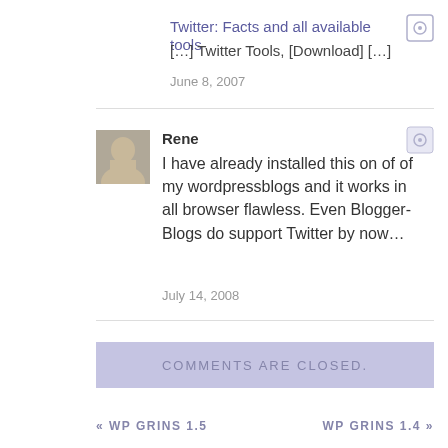Twitter: Facts and all available tools
[…] Twitter Tools, [Download] […]
June 8, 2007
Rene
I have already installed this on of of my wordpressblogs and it works in all browser flawless. Even Blogger-Blogs do support Twitter by now…
July 14, 2008
COMMENTS ARE CLOSED.
« WP GRINS 1.5
WP GRINS 1.4 »